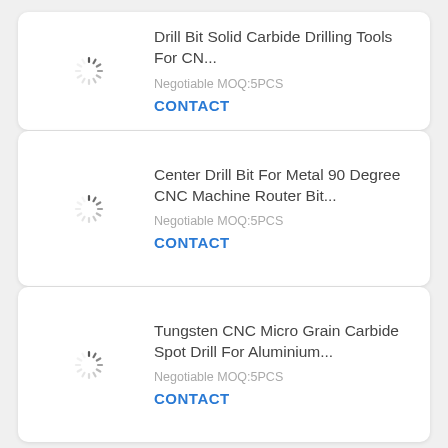Drill Bit Solid Carbide Drilling Tools For CN... Negotiable MOQ:5PCS CONTACT
Center Drill Bit For Metal 90 Degree CNC Machine Router Bit... Negotiable MOQ:5PCS CONTACT
Tungsten CNC Micro Grain Carbide Spot Drill For Aluminium... Negotiable MOQ:5PCS CONTACT